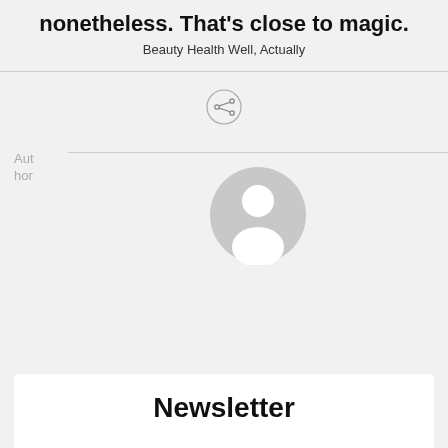nonetheless. That's close to magic.
Beauty Health Well, Actually
[Figure (illustration): Share button icon: a circle outline containing a share/network icon (three dots connected by lines)]
Author
[Figure (illustration): Default user avatar: a gray circle with a white silhouette of a person (head and shoulders)]
Newsletter